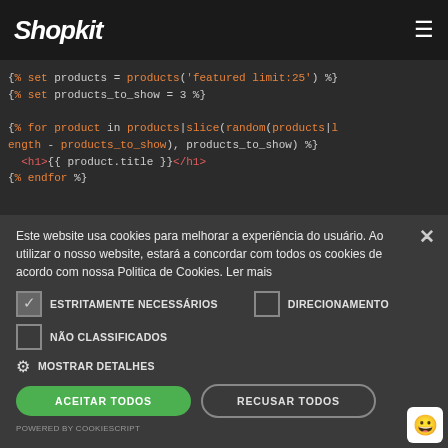Shopkit
[Figure (screenshot): Code editor dark background showing Liquid template code with syntax highlighting: set products, for loop, slice, random, product.title]
Este website usa cookies para melhorar a experiência do usuário. Ao utilizar o nosso website, estará a concordar com todos os cookies de acordo com nossa Politica de Cookies. Ler mais
ESTRITAMENTE NECESSÁRIOS
DIRECIONAMENTO
NÃO CLASSIFICADOS
MOSTRAR DETALHES
ACEITAR TODOS
RECUSAR TODOS
POWERED BY COOKIESCRIPT